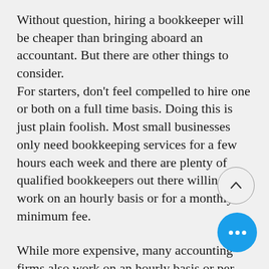Without question, hiring a bookkeeper will be cheaper than bringing aboard an accountant. But there are other things to consider. For starters, don't feel compelled to hire one or both on a full time basis. Doing this is just plain foolish. Most small businesses only need bookkeeping services for a few hours each week and there are plenty of qualified bookkeepers out there willing to work on an hourly basis or for a monthly minimum fee.

While more expensive, many accounting firms also work on an hourly basis or per consultation. Hiring one during tax time or when considering a business expansion